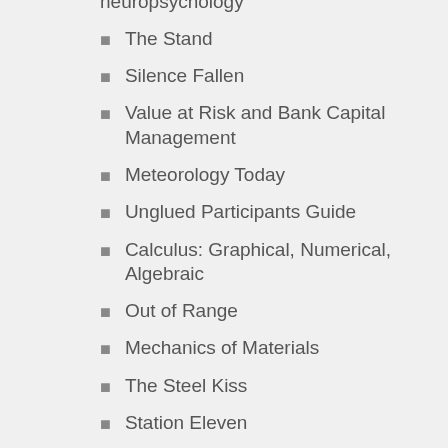neuropsychology
The Stand
Silence Fallen
Value at Risk and Bank Capital Management
Meteorology Today
Unglued Participants Guide
Calculus: Graphical, Numerical, Algebraic
Out of Range
Mechanics of Materials
The Steel Kiss
Station Eleven
youll grow out of it
the berenstain bears visit the firehouse
Going to Pieces without Falling Apart
A History of Modern Europe
Advances of Computational Fluid